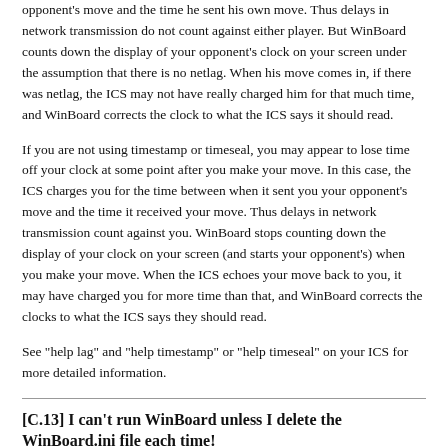opponent's move and the time he sent his own move. Thus delays in network transmission do not count against either player. But WinBoard counts down the display of your opponent's clock on your screen under the assumption that there is no netlag. When his move comes in, if there was netlag, the ICS may not have really charged him for that much time, and WinBoard corrects the clock to what the ICS says it should read.
If you are not using timestamp or timeseal, you may appear to lose time off your clock at some point after you make your move. In this case, the ICS charges you for the time between when it sent you your opponent's move and the time it received your move. Thus delays in network transmission count against you. WinBoard stops counting down the display of your clock on your screen (and starts your opponent's) when you make your move. When the ICS echoes your move back to you, it may have charged you for more time than that, and WinBoard corrects the clocks to what the ICS says they should read.
See "help lag" and "help timestamp" or "help timeseal" on your ICS for more detailed information.
[C.13] I can't run WinBoard unless I delete the WinBoard.ini file each time!